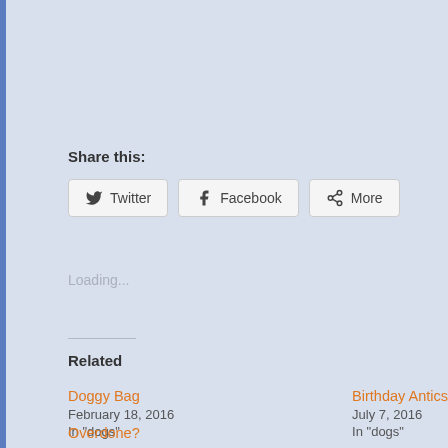Share this:
Twitter  Facebook  More
Loading...
Related
Doggy Bag
February 18, 2016
In "dogs"
Birthday Antics
July 7, 2016
In "dogs"
Overdone?